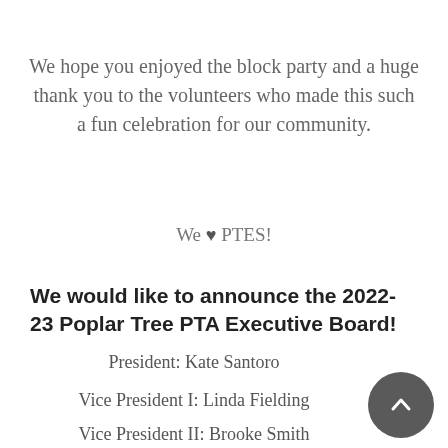We hope you enjoyed the block party and a huge thank you to the volunteers who made this such a fun celebration for our community.
We ♥ PTES!
We would like to announce the 2022-23 Poplar Tree PTA Executive Board!
President: Kate Santoro
Vice President I: Linda Fielding
Vice President II: Brooke Smith